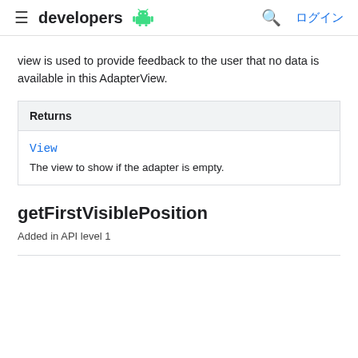developers [Android logo] [search] ログイン
view is used to provide feedback to the user that no data is available in this AdapterView.
| Returns |
| --- |
| View | The view to show if the adapter is empty. |
getFirstVisiblePosition
Added in API level 1